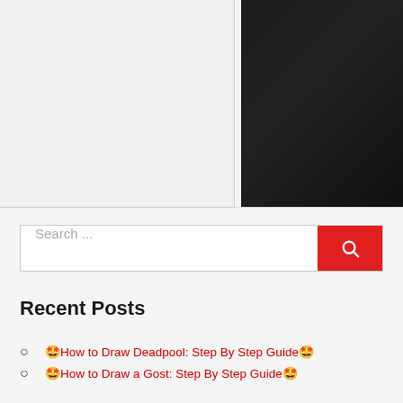[Figure (photo): Left panel with light gray background and a dark/black image on the right side]
Search ...
Recent Posts
🤩How to Draw Deadpool: Step By Step Guide🤩
🤩How to Draw a Gost: Step By Step Guide🤩